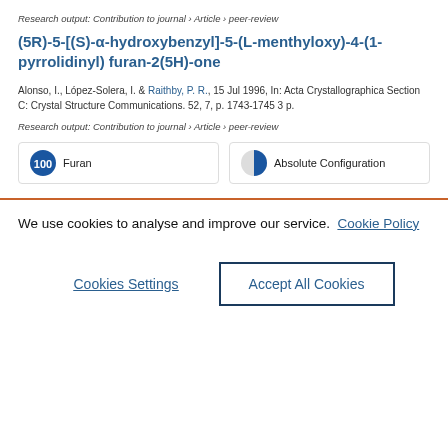Research output: Contribution to journal › Article › peer-review
(5R)-5-[(S)-α-hydroxybenzyl]-5-(L-menthyloxy)-4-(1-pyrrolidinyl) furan-2(5H)-one
Alonso, I., López-Solera, I. & Raithby, P. R., 15 Jul 1996, In: Acta Crystallographica Section C: Crystal Structure Communications. 52, 7, p. 1743-1745 3 p.
Research output: Contribution to journal › Article › peer-review
100 Furan | 60 Absolute Configuration
We use cookies to analyse and improve our service. Cookie Policy
Cookies Settings
Accept All Cookies